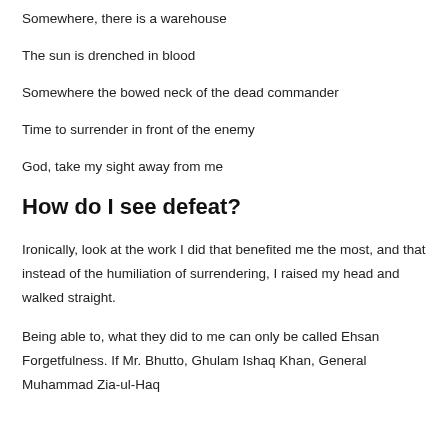Somewhere, there is a warehouse
The sun is drenched in blood
Somewhere the bowed neck of the dead commander
Time to surrender in front of the enemy
God, take my sight away from me
How do I see defeat?
Ironically, look at the work I did that benefited me the most, and that instead of the humiliation of surrendering, I raised my head and walked straight.
Being able to, what they did to me can only be called Ehsan Forgetfulness. If Mr. Bhutto, Ghulam Ishaq Khan, General Muhammad Zia-ul-Haq